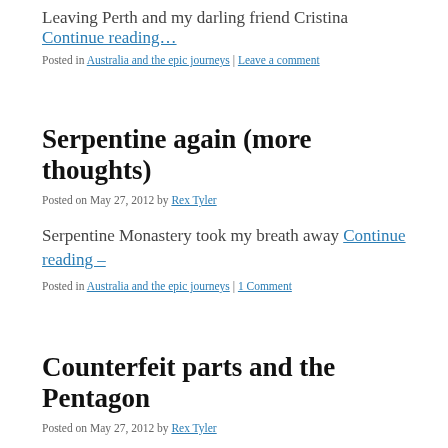Leaving Perth and my darling friend Cristina Continue reading…
Posted in Australia and the epic journeys | Leave a comment
Serpentine again (more thoughts)
Posted on May 27, 2012 by Rex Tyler
Serpentine Monastery took my breath away Continue reading –
Posted in Australia and the epic journeys | 1 Comment
Counterfeit parts and the Pentagon
Posted on May 27, 2012 by Rex Tyler
Some of these parts being fitted to weaponry of war Continue re…
Posted in Topical News Stories II | 1 Comment
Shake it up, make it a terrible bla…